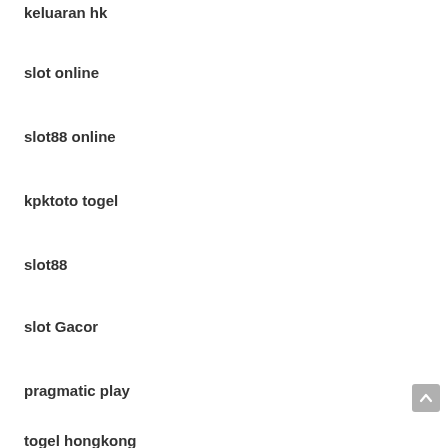keluaran hk
slot online
slot88 online
kpktoto togel
slot88
slot Gacor
pragmatic play
togel hongkong